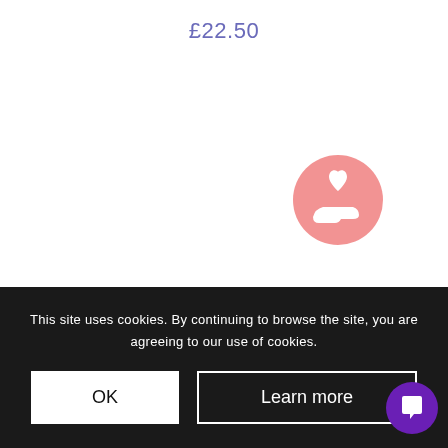£22.50
[Figure (illustration): Circular pink icon with a white heart above a white hand (charity/giving icon)]
[Figure (illustration): Faint watermark-style text in gray behind the page content]
This site uses cookies. By continuing to browse the site, you are agreeing to our use of cookies.
OK
Learn more
[Figure (illustration): Purple circle chat bubble icon in bottom right corner]